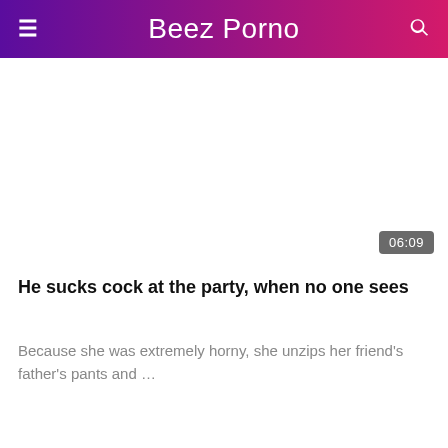Beez Porno
[Figure (screenshot): Video thumbnail area with duration badge showing 06:09]
He sucks cock at the party, when no one sees
Because she was extremely horny, she unzips her friend's father's pants and …